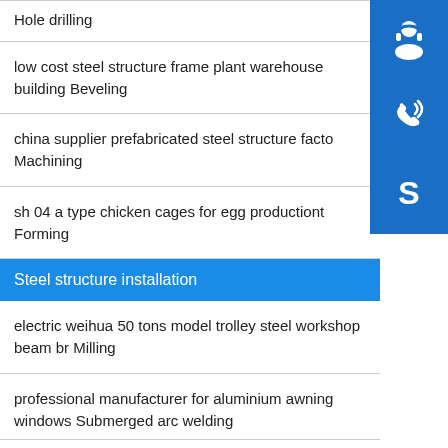Hole drilling
low cost steel structure frame plant warehouse building Beveling
china supplier prefabricated steel structure facto Machining
sh 04 a type chicken cages for egg productiont Forming
Steel structure installation
electric weihua 50 tons model trolley steel workshop beam br Milling
professional manufacturer for aluminium awning windows Submerged arc welding
[Figure (infographic): Three blue sidebar buttons: headset/support icon, phone/call icon, Skype icon]